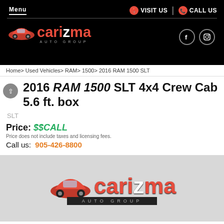Menu | VISIT US | CALL US
[Figure (logo): Carizma Auto Group logo with red sports car on black background, with Facebook and Instagram icons]
Home> Used Vehicles> RAM> 1500> 2016 RAM 1500 SLT
2016 RAM 1500 SLT 4x4 Crew Cab 5.6 ft. box
SLT
Price: $$CALL
Price does not include taxes and licensing fees.
Call us: 905-426-8800
[Figure (logo): Carizma Auto Group logo on light grey/white background, large version with red sports car]